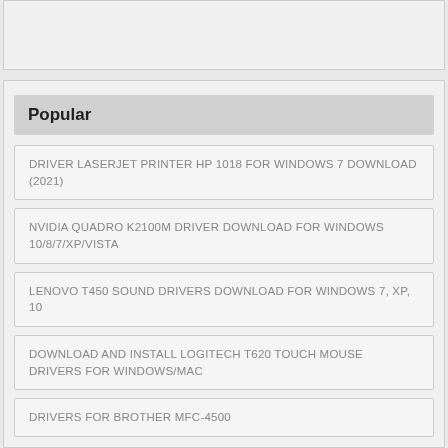Popular
DRIVER LASERJET PRINTER HP 1018 FOR WINDOWS 7 DOWNLOAD (2021)
NVIDIA QUADRO K2100M DRIVER DOWNLOAD FOR WINDOWS 10/8/7/XP/VISTA
LENOVO T450 SOUND DRIVERS DOWNLOAD FOR WINDOWS 7, XP, 10
DOWNLOAD AND INSTALL LOGITECH T620 TOUCH MOUSE DRIVERS FOR WINDOWS/MAC
DRIVERS FOR BROTHER MFC-4500